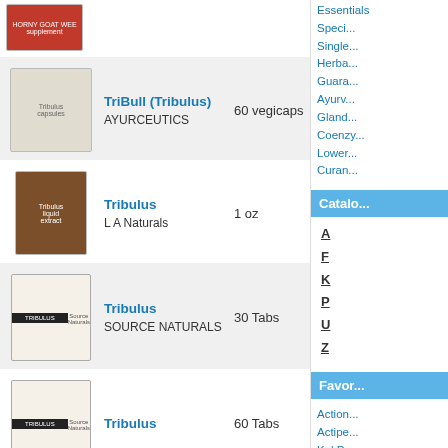[Figure (photo): Product image of Horny Goat Weed supplement with red label]
[Figure (photo): Product image of TriBull (Tribulus) by Ayurceutics - white bottles/capsules]
TriBull (Tribulus)
AYURCEUTICS
60 vegicaps
[Figure (photo): Product image of Tribulus liquid extract by L A Naturals - brown dropper bottle]
Tribulus
L A Naturals
1 oz
[Figure (photo): Product image of Tribulus by Source Naturals - white bottle with mountain logo]
Tribulus
SOURCE NATURALS
30 Tabs
[Figure (photo): Product image of Tribulus by Source Naturals - white bottle with mountain logo (60 Tabs)]
Tribulus
60 Tabs
[Figure (photo): Product image of Tribulus supplement - white bottle]
Essentials
Specials
Singles
Herbal
Guaranteed
Ayurvedic
Glandular
Coenz
Lower
Curan
Catalog
A
F
K
P
U
Z
Favorites
Action
Actipe
Kal P
Natur